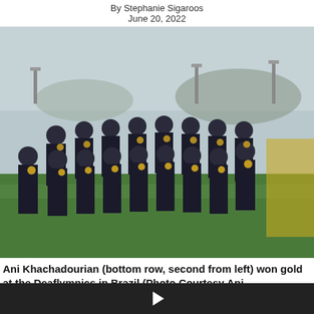By Stephanie Sigaroos
June 20, 2022
[Figure (photo): A women's soccer team posing on a field, all biting gold medals. They are wearing dark navy tracksuits. The photo shows two rows of players in a stadium setting with green grass and a hazy background of stadium lights and buildings. Ani Khachadourian is in the bottom row, second from left.]
Ani Khachadourian (bottom row, second from left) won gold at the Deaflympics in Brazil (Photo Courtesy Ani
[Figure (other): A dark video player bar with a play button triangle icon in the center.]